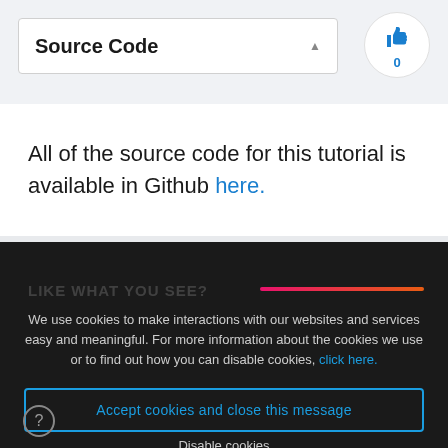Source Code
All of the source code for this tutorial is available in Github here.
We use cookies to make interactions with our websites and services easy and meaningful. For more information about the cookies we use or to find out how you can disable cookies, click here.
Accept cookies and close this message
Disable cookies